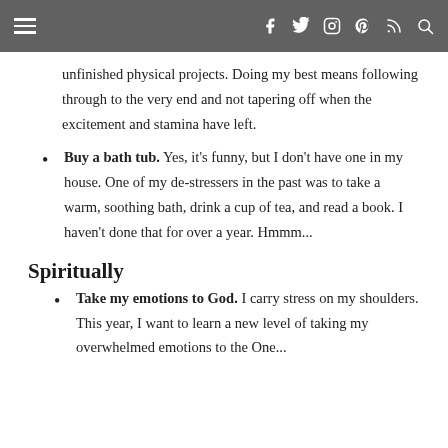Navigation bar with menu icon and social icons: f, twitter, instagram, pinterest, RSS, search
unfinished physical projects. Doing my best means following through to the very end and not tapering off when the excitement and stamina have left.
Buy a bath tub. Yes, it's funny, but I don't have one in my house. One of my de-stressers in the past was to take a warm, soothing bath, drink a cup of tea, and read a book. I haven't done that for over a year. Hmmm...
Spiritually
Take my emotions to God. I carry stress on my shoulders. This year, I want to learn a new level of taking my overwhelmed emotions to the One...